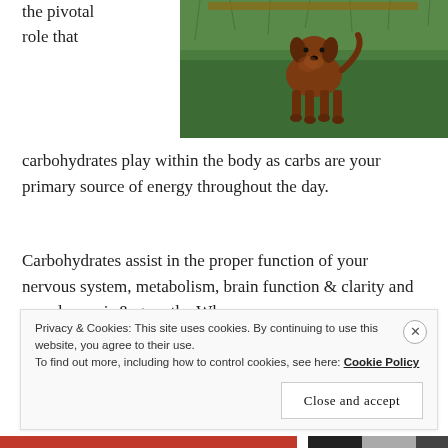the pivotal role that
[Figure (photo): A brown dog standing on green grass outdoors, viewed from behind/side, with a garden or yard setting visible.]
carbohydrates play within the body as carbs are your primary source of energy throughout the day.
Carbohydrates assist in the proper function of your nervous system, metabolism, brain function & clarity and muscle repair & growth.  When you consume carbohydrates, the body then breaks it down into simple
Privacy & Cookies: This site uses cookies. By continuing to use this website, you agree to their use.
To find out more, including how to control cookies, see here: Cookie Policy
Close and accept